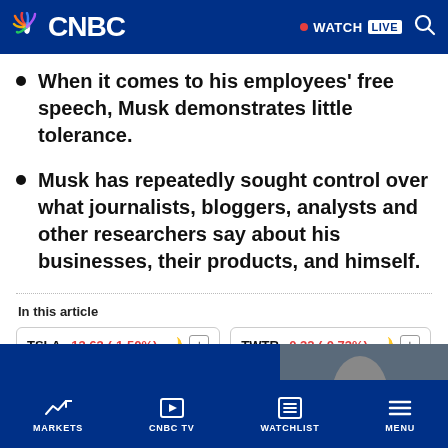CNBC — WATCH LIVE
When it comes to his employees' free speech, Musk demonstrates little tolerance.
Musk has repeatedly sought control over what journalists, bloggers, analysts and other researchers say about his businesses, their products, and himself.
In this article
TSLA -13.63 (-1.50%)
TWTR -0.32 (-0.73%)
MARKETS | CNBC TV | WATCHLIST | MENU